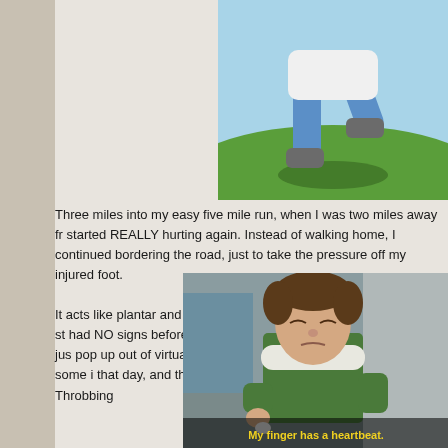[Figure (illustration): Cartoon animation still showing legs/feet of a running figure on green grass with blue sky background]
Three miles into my easy five mile run, when I was two miles away fr... started REALLY hurting again. Instead of walking home, I continued bordering the road, just to take the pressure off my injured foot.
It acts like plantar and feels like plantar, so it must be plantar. But I st... had NO signs before the race (THANK YOU DEAR JESUS), so I jus... pop up out of virtually nowhere. I iced my foot and looked up some i... that day, and that night, my heel had a heartbeat. It. Was. Throbbing...
[Figure (screenshot): Movie still from Elf showing Will Ferrell in elf costume with subtitle text 'My finger has a heartbeat.']